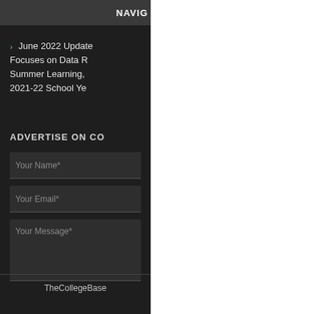NAVIG
June 2022 Update Focuses on Data R Summer Learning, 2021-22 School Ye
ADVERTISE ON CO
Your Name*
Your Email*
Your Message*
TheCollegeBase